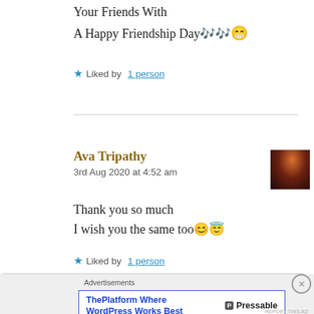Your Friends With
A Happy Friendship Day 🎶😄
★ Liked by 1 person
Ava Tripathy
3rd Aug 2020 at 4:52 am
Thank you so much
I wish you the same too 😊😇
★ Liked by 1 person
Advertisements
ThePlatform Where WordPress Works Best   ⬛ Pressable